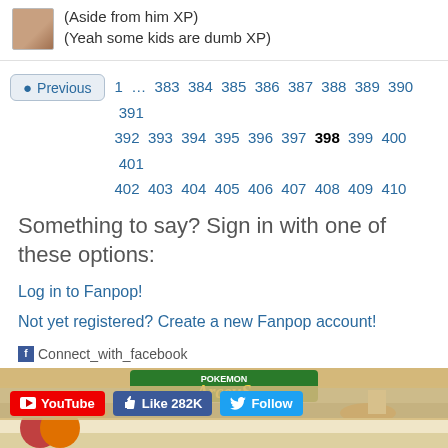(Aside from him XP)
(Yeah some kids are dumb XP)
Previous  1 ... 383 384 385 386 387 388 389 390 391 392 393 394 395 396 397 398 399 400 401 402 403 404 405 406 407 408 409 410 411 412 ... 1471
Something to say? Sign in with one of these options:
Log in to Fanpop!
Not yet registered? Create a new Fanpop account!
[Figure (other): Connect with Facebook icon/button]
[Figure (illustration): Arceus Pokemon banner with characters and logo]
YouTube   Like 282K   Follow